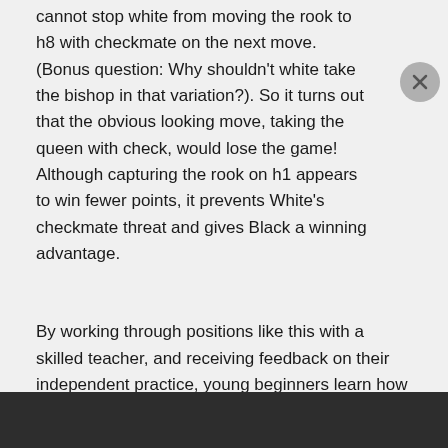cannot stop white from moving the rook to h8 with checkmate on the next move. (Bonus question: Why shouldn't white take the bishop in that variation?). So it turns out that the obvious looking move, taking the queen with check, would lose the game! Although capturing the rook on h1 appears to win fewer points, it prevents White's checkmate threat and gives Black a winning advantage.
By working through positions like this with a skilled teacher, and receiving feedback on their independent practice, young beginners learn how to take the opponent's intentions into account. Tomorrow, I will show a similar position to help beginners practice defending.
Tags:   CHESS FOR BEGINNERS   ONLINE CHESS